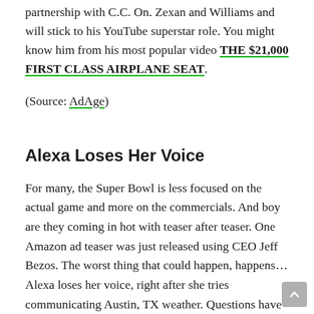partnership with C.C. On. Zexan and Williams and will stick to his YouTube superstar role. You might know him from his most popular video THE $21,000 FIRST CLASS AIRPLANE SEAT.
(Source: AdAge)
Alexa Loses Her Voice
For many, the Super Bowl is less focused on the actual game and more on the commercials. And boy are they coming in hot with teaser after teaser. One Amazon ad teaser was just released using CEO Jeff Bezos. The worst thing that could happen, happens… Alexa loses her voice, right after she tries communicating Austin, TX weather. Questions have arose as to whether Austin was the city mentioned due to Amazon's stake